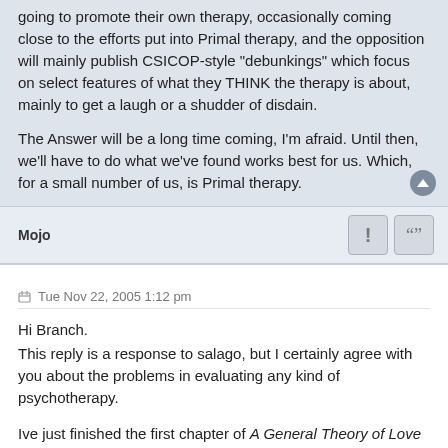going to promote their own therapy, occasionally coming close to the efforts put into Primal therapy, and the opposition will mainly publish CSICOP-style "debunkings" which focus on select features of what they THINK the therapy is about, mainly to get a laugh or a shudder of disdain.
The Answer will be a long time coming, I'm afraid. Until then, we'll have to do what we've found works best for us. Which, for a small number of us, is Primal therapy.
Mojo
Tue Nov 22, 2005 1:12 pm
Hi Branch.
This reply is a response to salago, but I certainly agree with you about the problems in evaluating any kind of psychotherapy.
Ive just finished the first chapter of A General Theory of Love and skimmed through the rest. I recommend it. Basically, the authors are saying the same as Arthur Janov has said many times, but because they are not promoting a proprietary brand of therapy I would recommend it above The Biology of Love. Judge for yourself whether the following quotes are in line with primal theory.